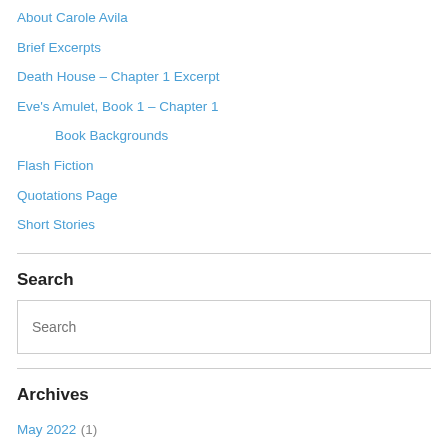About Carole Avila
Brief Excerpts
Death House – Chapter 1 Excerpt
Eve's Amulet, Book 1 – Chapter 1
Book Backgrounds
Flash Fiction
Quotations Page
Short Stories
Search
Search
Archives
May 2022 (1)
January 2021 (7)
February 2020 (1)